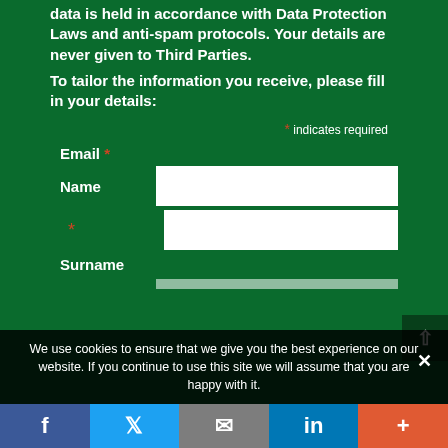data is held in accordance with Data Protection Laws and anti-spam protocols. Your details are never given to Third Parties.
To tailor the information you receive, please fill in your details:
* indicates required
Email *
Name
*
Surname
We use cookies to ensure that we give you the best experience on our website. If you continue to use this site we will assume that you are happy with it.
f  Twitter  Email  in  +